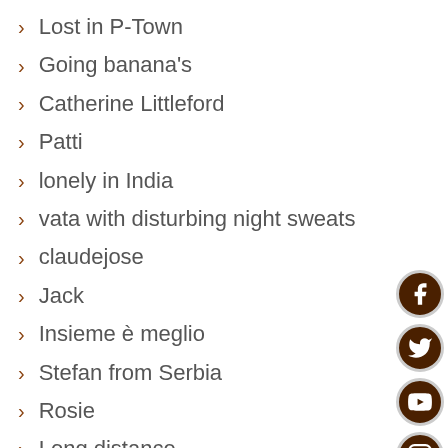Lost in P-Town
Going banana's
Catherine Littleford
Patti
lonely in India
vata with disturbing night sweats
claudejose
Jack
Insieme è meglio
Stefan from Serbia
Rosie
Long distance
need the truth
Concerned in LA
Confused
lonely in Princeton